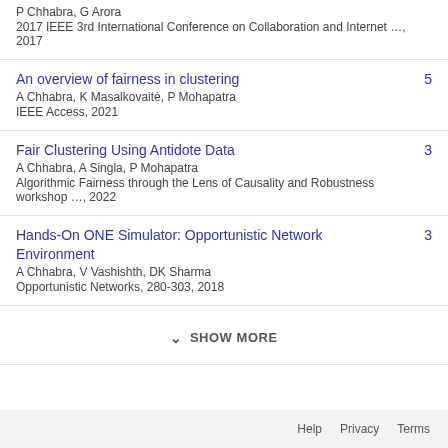P Chhabra, G Arora
2017 IEEE 3rd International Conference on Collaboration and Internet …, 2017
An overview of fairness in clustering
A Chhabra, K Masalkovaitė, P Mohapatra
IEEE Access, 2021
5
Fair Clustering Using Antidote Data
A Chhabra, A Singla, P Mohapatra
Algorithmic Fairness through the Lens of Causality and Robustness workshop …, 2022
3
Hands-On ONE Simulator: Opportunistic Network Environment
A Chhabra, V Vashishth, DK Sharma
Opportunistic Networks, 280-303, 2018
3
SHOW MORE
Help   Privacy   Terms